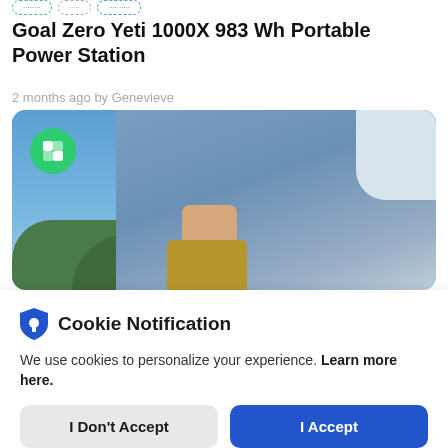Goal Zero Yeti 1000X 983 Wh Portable Power Station
2 months ago by Genevieve
[Figure (photo): Outdoor photo showing a person in jeans and light jacket carrying a bag, with blue sky and trees in background. Green circle logo with K icon overlaid in top-left corner.]
Cookie Notification
We use cookies to personalize your experience. Learn more here.
I Don't Accept
I Accept